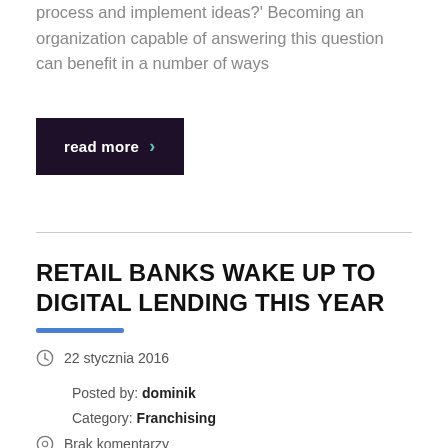process and implement ideas?' Becoming an organization capable of answering this question can benefit in a number of ways
read more ›
RETAIL BANKS WAKE UP TO DIGITAL LENDING THIS YEAR
22 stycznia 2016
Posted by: dominik
Category: Franchising
Brak komentarzy